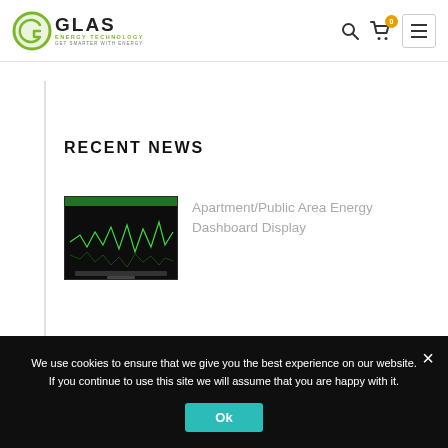[Figure (logo): GLAS Energy Technology logo with green circular G icon and tagline GET SMARTER WITH ENERGY]
Navigation header with search icon, cart icon with badge 0, and hamburger menu icon
RECENT NEWS
[Figure (photo): Photo of an energy dashboard display monitor showing green waveform graphs on dark screen]
Apartment/Public Area Energy Dashboard Display
We use cookies to ensure that we give you the best experience on our website. If you continue to use this site we will assume that you are happy with it.